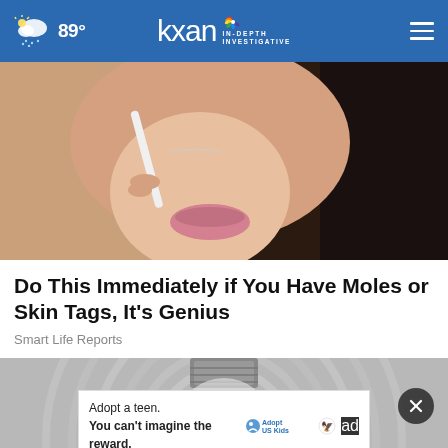89° | kxan IN-DEPTH INVESTIGATIVE
[Figure (photo): Close-up of a woman's face holding a white stick near her nose, dark hair, skin care context]
Do This Immediately if You Have Moles or Skin Tags, It's Genius
Smart Life Reports
[Figure (photo): Close-up of a light bulb base/socket on a textured grey circular surface, with an advertisement overlay: 'Adopt a teen. You can't imagine the reward.' AdoptUSKids ad banner with close button]